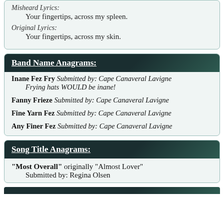Misheard Lyrics:
Your fingertips, across my spleen.
Original Lyrics:
Your fingertips, across my skin.
Band Name Anagrams:
Inane Fez Fry Submitted by: Cape Canaveral Lavigne
Frying hats WOULD be inane!
Fanny Frieze Submitted by: Cape Canaveral Lavigne
Fine Yarn Fez Submitted by: Cape Canaveral Lavigne
Any Finer Fez Submitted by: Cape Canaveral Lavigne
Song Title Anagrams:
"Most Overall" originally "Almost Lover"
Submitted by: Regina Olsen